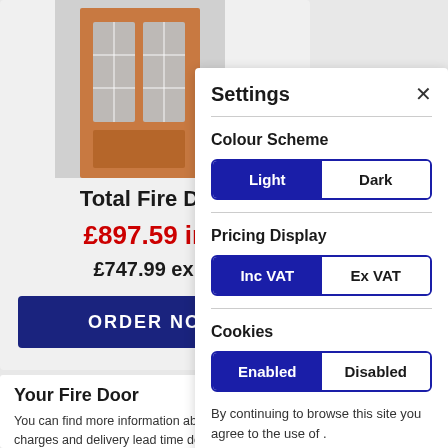[Figure (illustration): Illustration of a wooden fire door with two frosted glass panels]
Total Fire Doo[r]
£897.59 inc [VAT]
£747.99 ex V[AT]
ORDER NOW
Your Fire Door
You can find more information about the shipping charges and delivery lead time door below.
Settings
Colour Scheme
Light | Dark
Pricing Display
Inc VAT | Ex VAT
Cookies
Enabled | Disabled
By continuing to browse this site you agree to the use of .